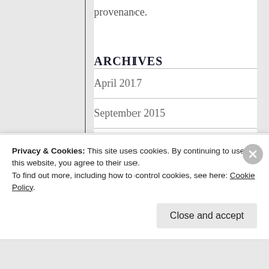provenance.
ARCHIVES
April 2017
September 2015
July 2015
June 2015
Privacy & Cookies: This site uses cookies. By continuing to use this website, you agree to their use. To find out more, including how to control cookies, see here: Cookie Policy
Close and accept